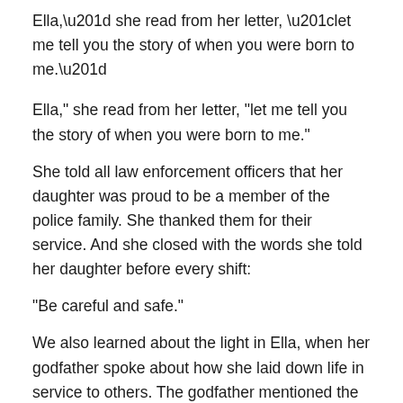Ella,” she read from her letter, “let me tell you the story of when you were born to me.”
She told all law enforcement officers that her daughter was proud to be a member of the police family. She thanked them for their service. And she closed with the words she told her daughter before every shift:
“Be careful and safe.”
We also learned about the light in Ella, when her godfather spoke about how she laid down life in service to others. The godfather mentioned the words of Jesus in the Bible. And then he continued:
“We are sobered whenever we see sacrifice on a battlefield, or in a blazing building or a street corner in Chicago,” he said. “The darker our culture gets, the further